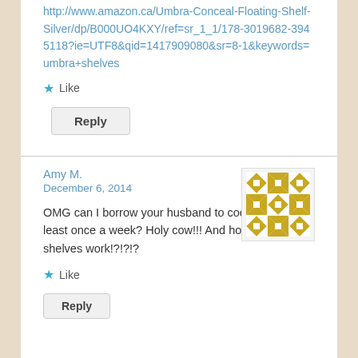http://www.amazon.ca/Umbra-Conceal-Floating-Shelf-Silver/dp/B000UO4KXY/ref=sr_1_1/178-3019682-3945118?ie=UTF8&qid=1417909080&sr=8-1&keywords=umbra+shelves
Like
Reply
Amy M.
December 6, 2014
OMG can I borrow your husband to cook for me at least once a week? Holy cow!!! And how do those shelves work!?!?!?
[Figure (illustration): A decorative avatar image with a golden/olive geometric quilt pattern on white background]
Like
Reply